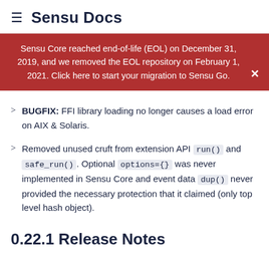≡ Sensu Docs
Sensu Core reached end-of-life (EOL) on December 31, 2019, and we removed the EOL repository on February 1, 2021. Click here to start your migration to Sensu Go.
BUGFIX: FFI library loading no longer causes a load error on AIX & Solaris.
Removed unused cruft from extension API run() and safe_run(). Optional options={} was never implemented in Sensu Core and event data dup() never provided the necessary protection that it claimed (only top level hash object).
0.22.1 Release Notes